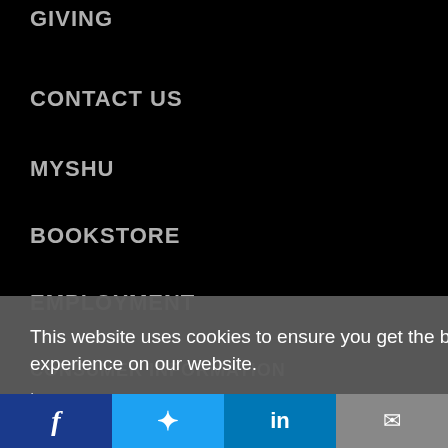GIVING
CONTACT US
MYSHU
BOOKSTORE
EMPLOYMENT
CONSUMER INFORMATION
This website uses cookies to ensure you get the best experience on our website.
Learn more
Got it!